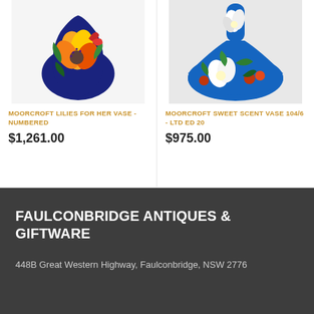[Figure (photo): Moorcroft Lilies For Her vase with floral pattern on dark blue background, yellow and red lily flowers]
MOORCROFT LILIES FOR HER VASE - NUMBERED
$1,261.00
[Figure (photo): Moorcroft Sweet Scent vase 104/6 with white lily flowers on dark blue background, wide flat base]
MOORCROFT SWEET SCENT VASE 104/6 - LTD ED 20
$975.00
FAULCONBRIDGE ANTIQUES & GIFTWARE
448B Great Western Highway, Faulconbridge, NSW 2776